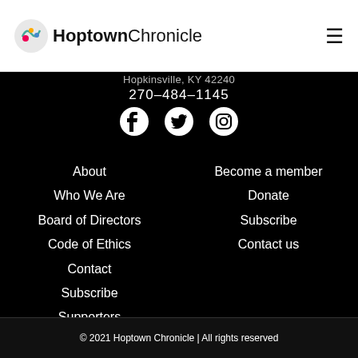Hoptown Chronicle
Hopkinsville, KY 42240
270-484-1145
[Figure (other): Social media icons: Facebook, Twitter, Instagram]
About
Who We Are
Board of Directors
Code of Ethics
Contact
Subscribe
Supporters
Donate
Become a member
Donate
Subscribe
Contact us
© 2021 Hoptown Chronicle | All rights reserved